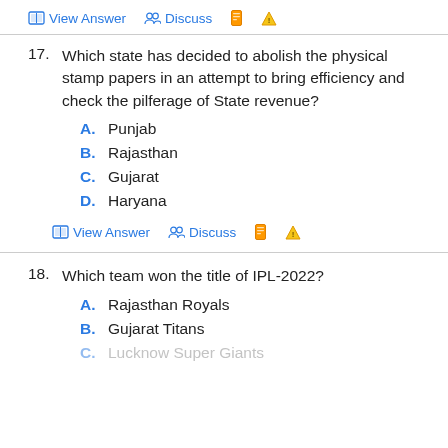View Answer  Discuss
17. Which state has decided to abolish the physical stamp papers in an attempt to bring efficiency and check the pilferage of State revenue?
A. Punjab
B. Rajasthan
C. Gujarat
D. Haryana
View Answer  Discuss
18. Which team won the title of IPL-2022?
A. Rajasthan Royals
B. Gujarat Titans